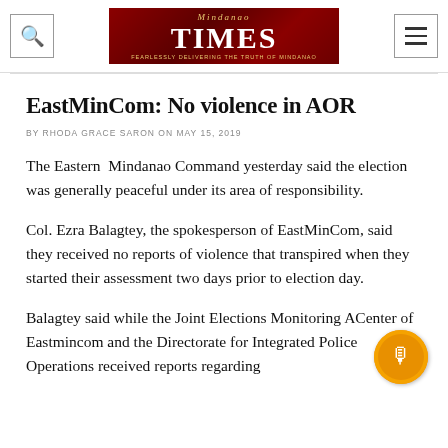Mindanao Times
EastMinCom: No violence in AOR
BY RHODA GRACE SARON ON MAY 15, 2019
The Eastern Mindanao Command yesterday said the election was generally peaceful under its area of responsibility.
Col. Ezra Balagtey, the spokesperson of EastMinCom, said they received no reports of violence that transpired when they started their assessment two days prior to election day.
Balagtey said while the Joint Elections Monitoring A Center of Eastmincom and the Directorate for Integrated Police Operations received reports regarding